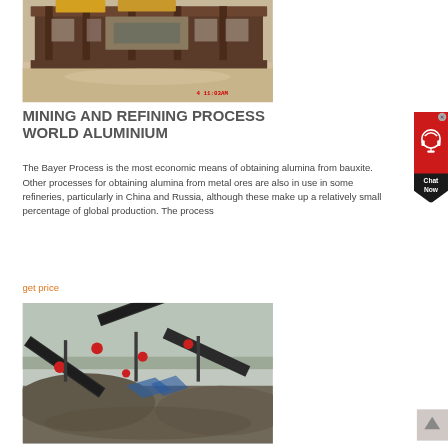[Figure (photo): Industrial mining equipment — large metal frame structure with machinery, sandy ground below, with red timestamp overlay reading '4 11:03AM']
MINING AND REFINING PROCESS WORLD ALUMINIUM
The Bayer Process is the most economic means of obtaining alumina from bauxite. Other processes for obtaining alumina from metal ores are also in use in some refineries, particularly in China and Russia, although these make up a relatively small percentage of global production. The process
get price
[Figure (photo): Aerial view of industrial conveyor belt systems at a mining site, with large piles of aggregate rock/ore material]
[Figure (other): Chat Now widget — circular chat icon above black diamond shape with 'Chat Now' text in white]